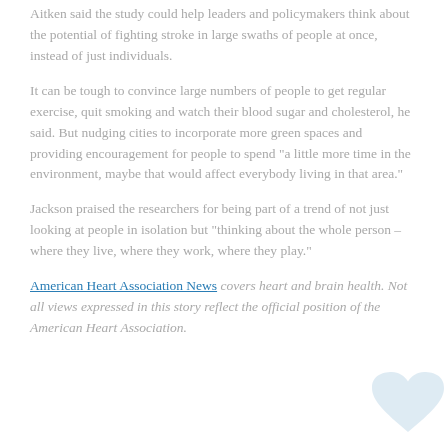Aitken said the study could help leaders and policymakers think about the potential of fighting stroke in large swaths of people at once, instead of just individuals.
It can be tough to convince large numbers of people to get regular exercise, quit smoking and watch their blood sugar and cholesterol, he said. But nudging cities to incorporate more green spaces and providing encouragement for people to spend "a little more time in the environment, maybe that would affect everybody living in that area."
Jackson praised the researchers for being part of a trend of not just looking at people in isolation but "thinking about the whole person – where they live, where they work, where they play."
American Heart Association News covers heart and brain health. Not all views expressed in this story reflect the official position of the American Heart Association.